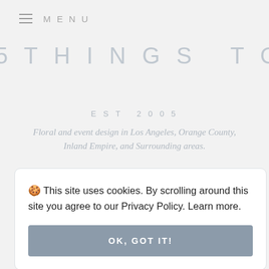MENU
5 THINGS TO KNOW ABOUT
EST 2005
Floral and event design in Los Angeles, Orange County, Inland Empire, and Surrounding areas.
🍪 This site uses cookies. By scrolling around this site you agree to our Privacy Policy. Learn more.
OK, GOT IT!
floral
am!
@POSHPEONY